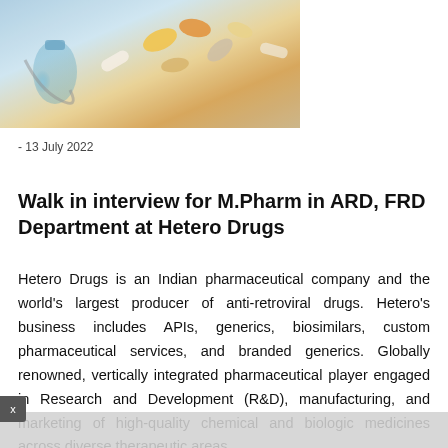[Figure (photo): Photo of pharmaceutical pills, capsules, and medical vials on a light blue/white background]
- 13 July 2022
Walk in interview for M.Pharm in ARD, FRD Department at Hetero Drugs
Hetero Drugs is an Indian pharmaceutical company and the world's largest producer of anti-retroviral drugs. Hetero's business includes APIs, generics, biosimilars, custom pharmaceutical services, and branded generics. Globally renowned, vertically integrated pharmaceutical player engaged in Research and Development (R&D), manufacturing, and marketing of high-quality chemical and biologic medicines across diverse therapeutic areas